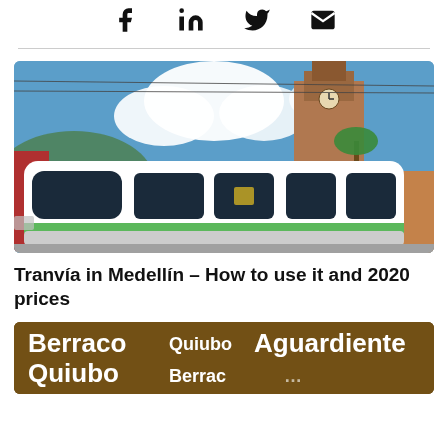[Figure (illustration): Social media icons: Facebook, LinkedIn, Twitter, Email in a row]
[Figure (photo): A modern white and green tram/tranvia in Medellin, Colombia, with a historic brick clock tower and blue sky in background]
Tranvía in Medellín – How to use it and 2020 prices
[Figure (photo): Dark golden-toned image with white bold text showing Colombian slang words: Berraco, Quiubo, Aguardiente, Quiubo, Berraco, and more]